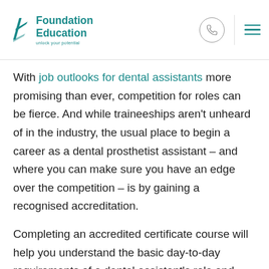Foundation Education — unlock your potential
With job outlooks for dental assistants more promising than ever, competition for roles can be fierce. And while traineeships aren't unheard of in the industry, the usual place to begin a career as a dental prosthetist assistant – and where you can make sure you have an edge over the competition – is by gaining a recognised accreditation.
Completing an accredited certificate course will help you understand the basic day-to-day requirements of a dental assistant's role and equip you with the necessary technical skills, knowledge and practical experience to succeed. Health,